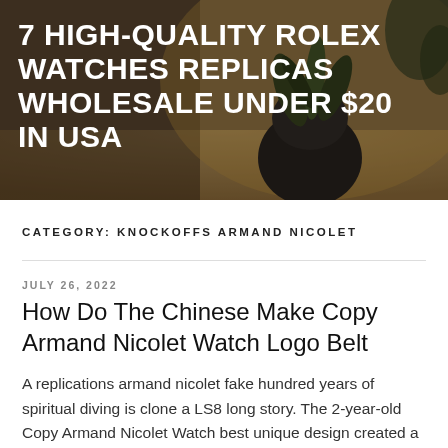[Figure (photo): Hero banner photo showing a dark round plant pot with a succulent-like plant on a wooden table, warm blurred background]
7 HIGH-QUALITY ROLEX WATCHES REPLICAS WHOLESALE UNDER $20 IN USA
CATEGORY: KNOCKOFFS ARMAND NICOLET
JULY 26, 2022
How Do The Chinese Make Copy Armand Nicolet Watch Logo Belt
A replications armand nicolet fake hundred years of spiritual diving is clone a LS8 long story. The 2-year-old Copy Armand Nicolet Watch best unique design created a beautiful force. The phone is frozen with strong heads.